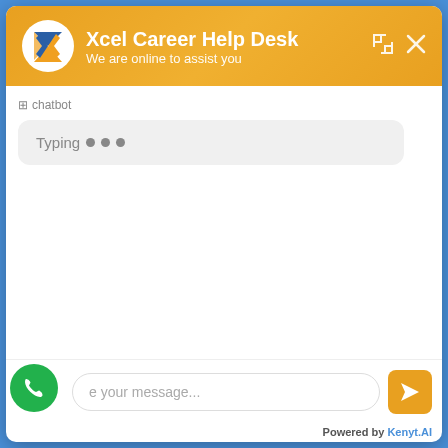Xcel Career Help Desk
We are online to assist you
chatbot
Typing ...
e your message...
Powered by Kenyt.AI